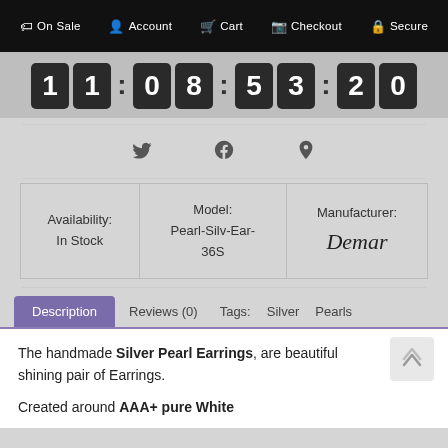On Sale  Account  Cart  Checkout  Secure
[Figure (other): Countdown timer showing 11:08:53:20]
[Figure (other): Social share icons: Twitter, Facebook, Pinterest]
| Availability: | Model: | Manufacturer: |
| --- | --- | --- |
| In Stock | Pearl-Silv-Ear-36S | Demar (brand logo) |
Description  Reviews (0)  Tags:  Silver  Pearls
The handmade Silver Pearl Earrings, are beautiful shining pair of Earrings.
Created around AAA+ pure White